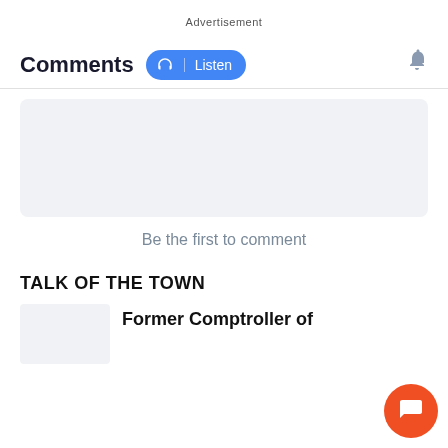Advertisement
Comments
[Figure (other): Listen button with headphone icon and Listen label, and a bell notification icon to the right]
[Figure (other): Gray comment input box area]
Be the first to comment
TALK OF THE TOWN
Former Comptroller of
[Figure (other): Orange circular chat/comment FAB button with chat bubble icon]